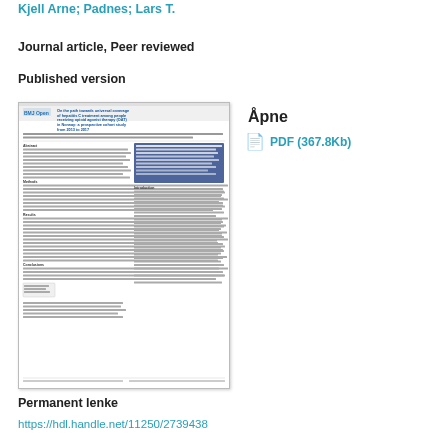Kjell Arne; Padnes; Lars T.
Journal article, Peer reviewed
Published version
[Figure (screenshot): Thumbnail of BMJ Open journal article page titled 'On the path towards universal coverage of hepatitis C treatment among people receiving opioid agonist therapy (OAT) in Norway: a prospective cohort study from 2013 to 2017']
Åpne
PDF (367.8Kb)
Permanent lenke
https://hdl.handle.net/11250/2739438